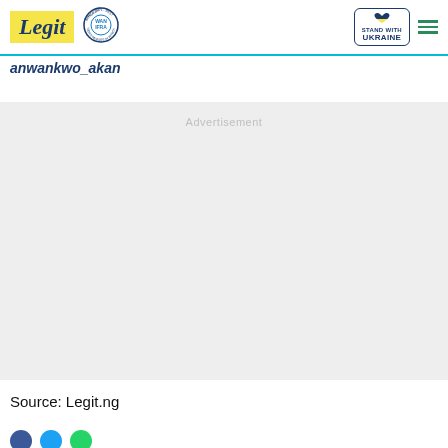Legit — WAN IFRA 2021 Best News Website in Africa — Stand with Ukraine
anwankwo_akan
[Figure (other): Advertisement placeholder area with light grey background]
Source: Legit.ng